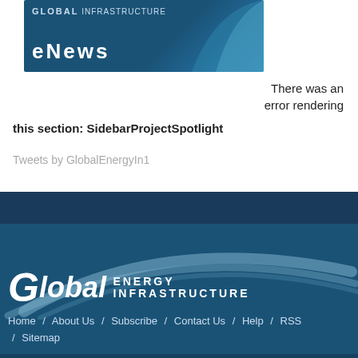[Figure (logo): Global Infrastructure eNews banner logo with teal swoosh design]
There was an error rendering
this section: SidebarProjectSpotlight
Tweets by GlobalEnergyIn1
[Figure (logo): Global Energy Infrastructure footer logo with swoosh arcs on dark teal background]
Home / About Us / Subscribe / Contact Us / Help / RSS / Sitemap